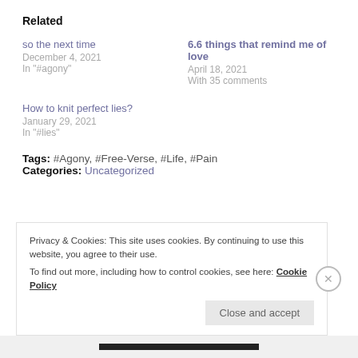Related
so the next time
December 4, 2021
In "#agony"
6.6 things that remind me of love
April 18, 2021
With 35 comments
How to knit perfect lies?
January 29, 2021
In "#lies"
Tags: #Agony, #Free-Verse, #Life, #Pain
Categories: Uncategorized
Privacy & Cookies: This site uses cookies. By continuing to use this website, you agree to their use.
To find out more, including how to control cookies, see here: Cookie Policy
Close and accept